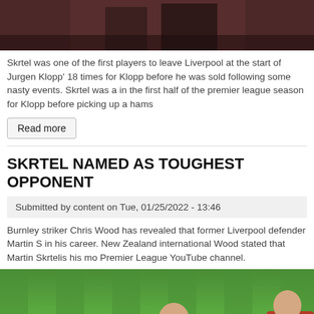[Figure (photo): Top portion of an image showing two people, appears to be football/soccer related, cropped at top]
Skrtel was one of the first players to leave Liverpool at the start of Jurgen Klopp' 18 times for Klopp before he was sold following some nasty events. Skrtel was a in the first half of the premier league season for Klopp before picking up a hams
Read more
SKRTEL NAMED AS TOUGHEST OPPONENT
Submitted by content on Tue, 01/25/2022 - 13:46
Burnley striker Chris Wood has revealed that former Liverpool defender Martin S in his career. New Zealand international Wood stated that Martin Skrtelis his mo Premier League YouTube channel.
[Figure (photo): Photo of a bald footballer (Martin Skrtel) celebrating or shouting on a green grass football pitch, wearing red kit, with another player partially visible on the right]